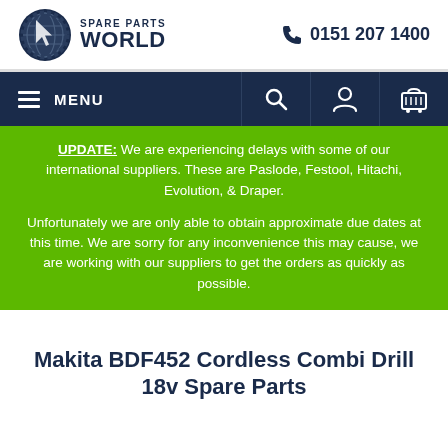[Figure (logo): Spare Parts World logo with circular globe/gear icon and company name text]
0151 207 1400
MENU navigation bar with search, user, and cart icons
UPDATE: We are experiencing delays with some of our international suppliers. These are Paslode, Festool, Hitachi, Evolution, & Draper.

Unfortunately we are only able to obtain approximate due dates at this time. We are sorry for any inconvenience this may cause, we are working with our suppliers to get the orders as quickly as possible.
Makita BDF452 Cordless Combi Drill 18v Spare Parts